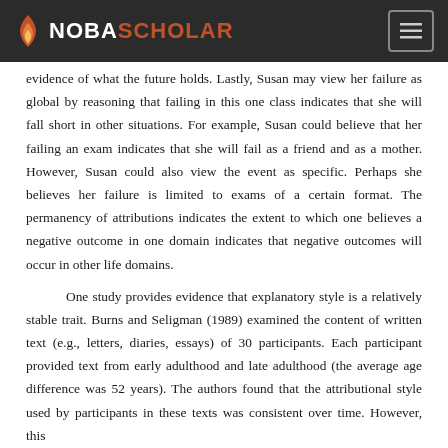NOBASCHOLAR
evidence of what the future holds. Lastly, Susan may view her failure as global by reasoning that failing in this one class indicates that she will fall short in other situations. For example, Susan could believe that her failing an exam indicates that she will fail as a friend and as a mother. However, Susan could also view the event as specific. Perhaps she believes her failure is limited to exams of a certain format. The permanency of attributions indicates the extent to which one believes a negative outcome in one domain indicates that negative outcomes will occur in other life domains.
One study provides evidence that explanatory style is a relatively stable trait. Burns and Seligman (1989) examined the content of written text (e.g., letters, diaries, essays) of 30 participants. Each participant provided text from early adulthood and late adulthood (the average age difference was 52 years). The authors found that the attributional style used by participants in these texts was consistent over time. However, this